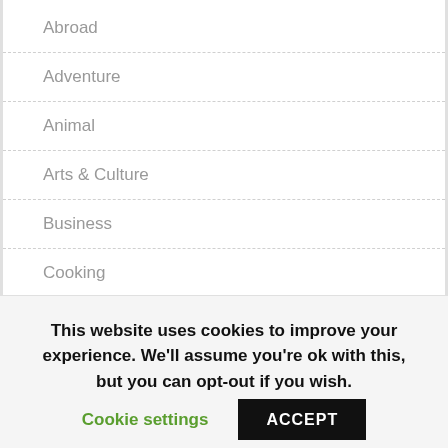Abroad
Adventure
Animal
Arts & Culture
Business
Cooking
Germany
Interesting
This website uses cookies to improve your experience. We'll assume you're ok with this, but you can opt-out if you wish.
Cookie settings
ACCEPT